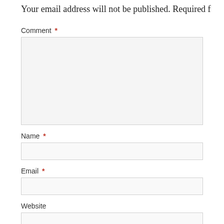Your email address will not be published. Required f…
Comment *
Name *
Email *
Website